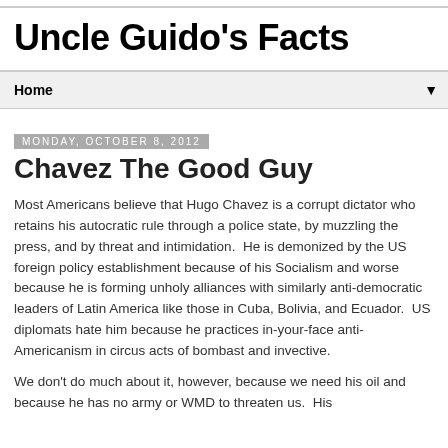Uncle Guido's Facts
Home
Monday, October 8, 2012
Chavez The Good Guy
Most Americans believe that Hugo Chavez is a corrupt dictator who retains his autocratic rule through a police state, by muzzling the press, and by threat and intimidation.  He is demonized by the US foreign policy establishment because of his Socialism and worse because he is forming unholy alliances with similarly anti-democratic leaders of Latin America like those in Cuba, Bolivia, and Ecuador.  US diplomats hate him because he practices in-your-face anti-Americanism in circus acts of bombast and invective.
We don't do much about it, however, because we need his oil and because he has no army or WMD to threaten us.  His